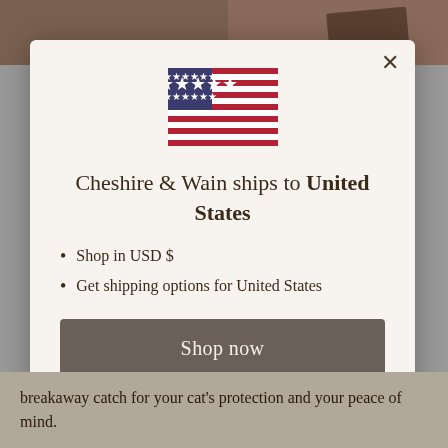[Figure (screenshot): Modal dialog on a website showing a US flag, shipping country notice, bullet points, and a shop now button]
Cheshire & Wain ships to United States
Shop in USD $
Get shipping options for United States
Shop now
Change shipping country
breakaway catch for your cat's protection and your peace of mind.